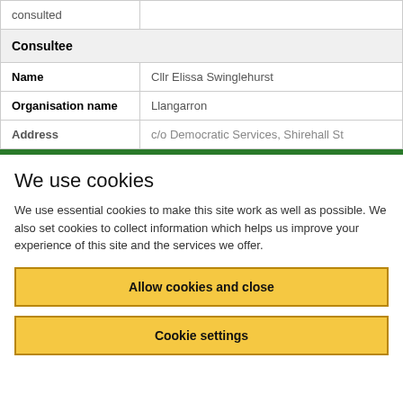| Consultee |
| --- |
| consulted |  |
| Consultee |  |
| Name | Cllr Elissa Swinglehurst |
| Organisation name | Llangarron |
| Address | c/o Democratic Services, Shirehall St |
We use cookies
We use essential cookies to make this site work as well as possible. We also set cookies to collect information which helps us improve your experience of this site and the services we offer.
Allow cookies and close
Cookie settings